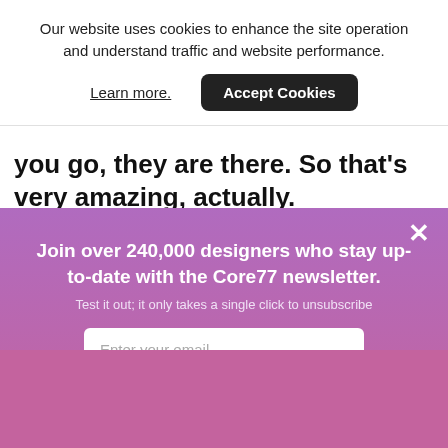Our website uses cookies to enhance the site operation and understand traffic and website performance.
Learn more.
Accept Cookies
you go, they are there. So that's very amazing, actually.
×
Join over 240,000 designers who stay up-to-date with the Core77 newsletter.
Test it out; it only takes a single click to unsubscribe
Enter your email
Subscribe